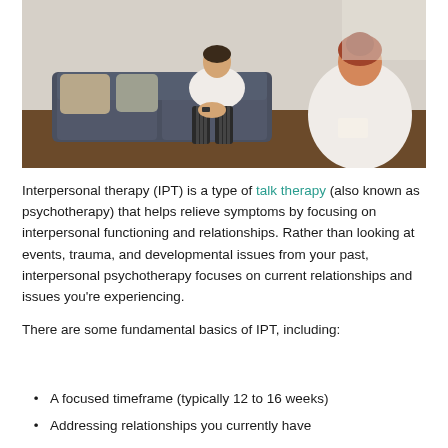[Figure (photo): Two people in a therapy session — a patient sitting on a couch and a therapist seated across from them, viewed from behind.]
Interpersonal therapy (IPT) is a type of talk therapy (also known as psychotherapy) that helps relieve symptoms by focusing on interpersonal functioning and relationships. Rather than looking at events, trauma, and developmental issues from your past, interpersonal psychotherapy focuses on current relationships and issues you're experiencing.
There are some fundamental basics of IPT, including:
A focused timeframe (typically 12 to 16 weeks)
Addressing relationships you currently have